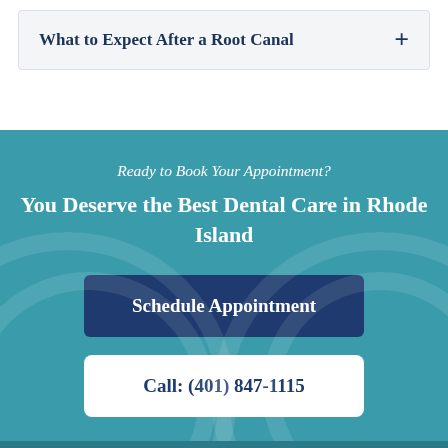What to Expect After a Root Canal
Ready to Book Your Appointment?
You Deserve the Best Dental Care in Rhode Island
Schedule Appointment
Call: (401) 847-1115